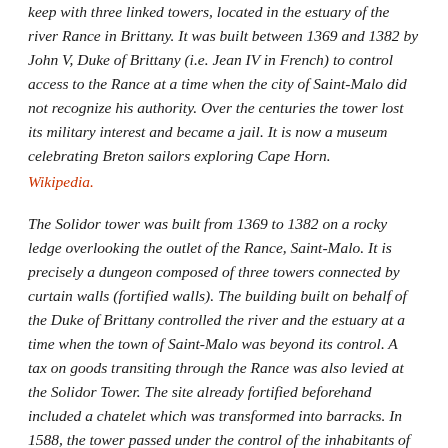keep with three linked towers, located in the estuary of the river Rance in Brittany. It was built between 1369 and 1382 by John V, Duke of Brittany (i.e. Jean IV in French) to control access to the Rance at a time when the city of Saint-Malo did not recognize his authority. Over the centuries the tower lost its military interest and became a jail. It is now a museum celebrating Breton sailors exploring Cape Horn.
Wikipedia.
The Solidor tower was built from 1369 to 1382 on a rocky ledge overlooking the outlet of the Rance, Saint-Malo. It is precisely a dungeon composed of three towers connected by curtain walls (fortified walls). The building built on behalf of the Duke of Brittany controlled the river and the estuary at a time when the town of Saint-Malo was beyond its control. A tax on goods transiting through the Rance was also levied at the Solidor Tower. The site already fortified beforehand included a chatelet which was transformed into barracks. In 1588, the tower passed under the control of the inhabitants of Saint-Malo and in